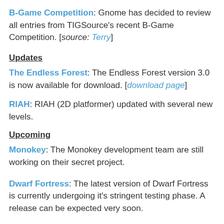B-Game Competition: Gnome has decided to review all entries from TIGSource's recent B-Game Competition. [source: Terry]
Updates
The Endless Forest: The Endless Forest version 3.0 is now available for download. [download page]
RIAH: RIAH (2D platformer) updated with several new levels.
Upcoming
Monokey: The Monokey development team are still working on their secret project.
Dwarf Fortress: The latest version of Dwarf Fortress is currently undergoing it's stringent testing phase. A release can be expected very soon.
Miscellaneous